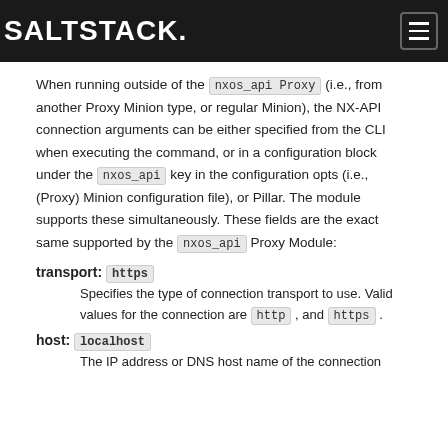SALTSTACK
When running outside of the nxos_api Proxy (i.e., from another Proxy Minion type, or regular Minion), the NX-API connection arguments can be either specified from the CLI when executing the command, or in a configuration block under the nxos_api key in the configuration opts (i.e., (Proxy) Minion configuration file), or Pillar. The module supports these simultaneously. These fields are the exact same supported by the nxos_api Proxy Module:
transport: https
Specifies the type of connection transport to use. Valid values for the connection are http , and https .
host: localhost
The IP address or DNS host name of the connection